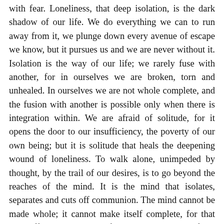with fear. Loneliness, that deep isolation, is the dark shadow of our life. We do everything we can to run away from it, we plunge down every avenue of escape we know, but it pursues us and we are never without it. Isolation is the way of our life; we rarely fuse with another, for in ourselves we are broken, torn and unhealed. In ourselves we are not whole complete, and the fusion with another is possible only when there is integration within. We are afraid of solitude, for it opens the door to our insufficiency, the poverty of our own being; but it is solitude that heals the deepening wound of loneliness. To walk alone, unimpeded by thought, by the trail of our desires, is to go beyond the reaches of the mind. It is the mind that isolates, separates and cuts off communion. The mind cannot be made whole; it cannot make itself complete, for that very effort is a process of isolation, it is part of the loneliness that nothing can cover. The mind is the product of the many, and what is put together can never be alone. Aloneness is not the result of thought. Only when thought is utterly still is there the flight of the alone to the alone.